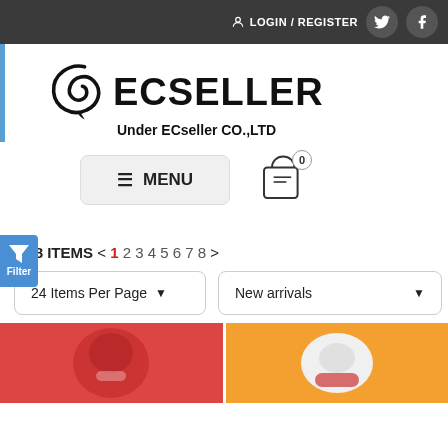LOGIN / REGISTER
[Figure (logo): ECseller logo with swirl icon and text 'ECSELLER Under ECseller CO.,LTD']
≡ MENU
[Figure (illustration): Shopping cart/bag icon with badge showing 0]
[Figure (other): Blue filter tab on left side with funnel icon and text 'Filter']
178 ITEMS < 1 2 3 4 5 6 7 8 >
24 Items Per Page▾   New arrivals ▾
[Figure (photo): Two product thumbnail images partially visible at the bottom of the page]